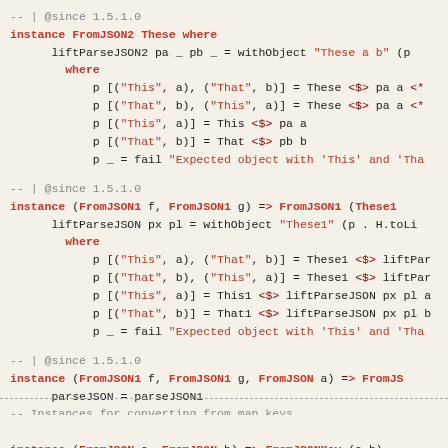-- | @since 1.5.1.0
instance FromJSON2 These where
    liftParseJSON2 pa _ pb _ = withObject "These a b" (p
      where
          p [("This", a), ("That", b)] = These <$> pa a <*
          p [("That", b), ("This", a)] = These <$> pa a <*
          p [("This", a)] = This <$> pa a
          p [("That", b)] = That <$> pb b
          p _ = fail "Expected object with 'This' and 'Tha
-- | @since 1.5.1.0
instance (FromJSON1 f, FromJSON1 g) => FromJSON1 (These1
    liftParseJSON px pl = withObject "These1" (p . H.toLi
      where
          p [("This", a), ("That", b)] = These1 <$> liftPar
          p [("That", b), ("This", a)] = These1 <$> liftPar
          p [("This", a)] = This1 <$> liftParseJSON px pl a
          p [("That", b)] = That1 <$> liftParseJSON px pl b
          p _ = fail "Expected object with 'This' and 'Tha
-- | @since 1.5.1.0
instance (FromJSON1 f, FromJSON1 g, FromJSON a) => FromJS
    parseJSON = parseJSON1
-- Instances for converting from map keys
instance (FromJSON a, FromJSON b) => FromJSONKey (a,b)
instance (FromJSON a, FromJSON b, FromJSON c) => FromJSON